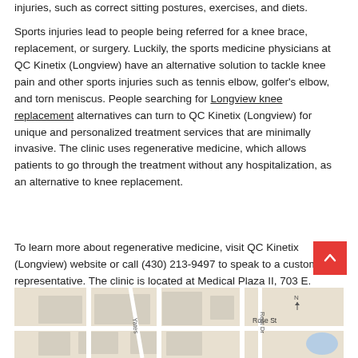injuries, such as correct sitting postures, exercises, and diets.
Sports injuries lead to people being referred for a knee brace, replacement, or surgery. Luckily, the sports medicine physicians at QC Kinetix (Longview) have an alternative solution to tackle knee pain and other sports injuries such as tennis elbow, golfer's elbow, and torn meniscus. People searching for Longview knee replacement alternatives can turn to QC Kinetix (Longview) for unique and personalized treatment services that are minimally invasive. The clinic uses regenerative medicine, which allows patients to go through the treatment without any hospitalization, as an alternative to knee replacement.
To learn more about regenerative medicine, visit QC Kinetix (Longview) website or call (430) 213-9497 to speak to a customer representative. The clinic is located at Medical Plaza II, 703 E. Marshall Ave, Suite 3007, Longview, TX, 75601, United States.
[Figure (map): Street map showing the area around the clinic location. Visible street labels include Yates, Rest Dr, and Rose St.]